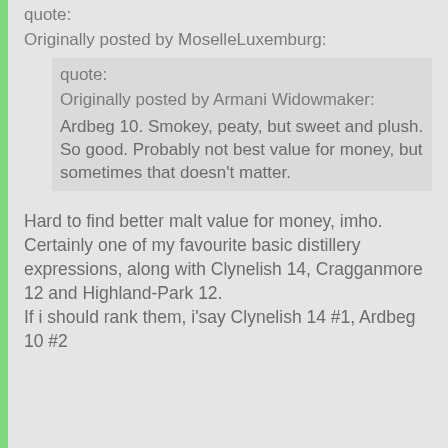quote:
Originally posted by MoselleLuxemburg:
quote:
Originally posted by Armani Widowmaker:
Ardbeg 10. Smokey, peaty, but sweet and plush. So good. Probably not best value for money, but sometimes that doesn't matter.
Hard to find better malt value for money, imho. Certainly one of my favourite basic distillery expressions, along with Clynelish 14, Cragganmore 12 and Highland-Park 12.
If i should rank them, i'say Clynelish 14 #1, Ardbeg 10 #2